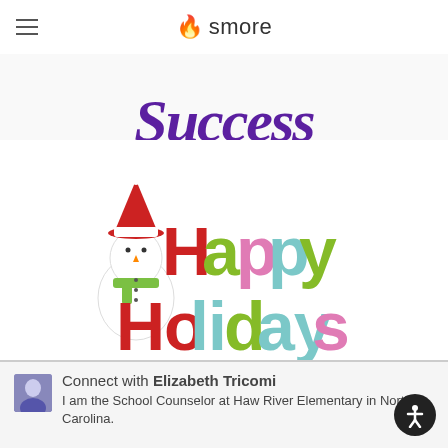smore
[Figure (illustration): Partial view of decorative cursive text reading 'Success' in purple/violet color]
[Figure (illustration): Happy Holidays image with colorful glitter-style lettering in red, green, and teal, with a snowman wearing a Santa hat on the left side]
Connect with Elizabeth Tricomi
I am the School Counselor at Haw River Elementary in North Carolina.